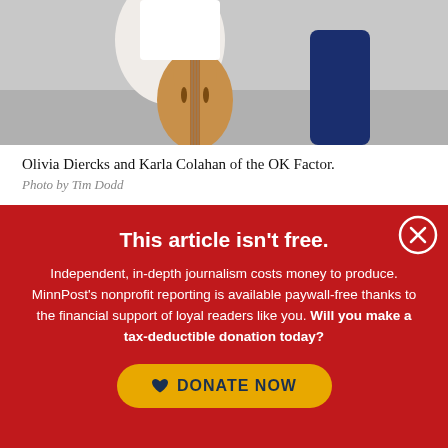[Figure (photo): Photo of Olivia Diercks and Karla Colahan of the OK Factor, showing a person holding a cello instrument against an outdoor background]
Olivia Diercks and Karla Colahan of the OK Factor.
Photo by Tim Dodd
1. Thursday, July 1, 7:30 p.m., on the green roof
This article isn't free.
Independent, in-depth journalism costs money to produce. MinnPost's nonprofit reporting is available paywall-free thanks to the financial support of loyal readers like you. Will you make a tax-deductible donation today?
DONATE NOW